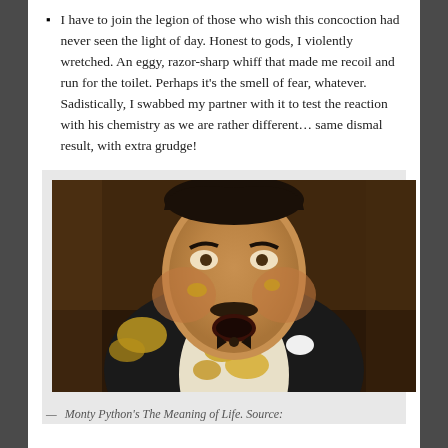I have to join the legion of those who wish this concoction had never seen the light of day. Honest to gods, I violently wretched. An eggy, razor-sharp whiff that made me recoil and run for the toilet. Perhaps it's the smell of fear, whatever. Sadistically, I swabbed my partner with it to test the reaction with his chemistry as we are rather different… same dismal result, with extra grudge!
[Figure (photo): A large man in a tuxedo with food splattered across his face and clothing, from Monty Python's The Meaning of Life.]
— Monty Python's The Meaning of Life. Source: